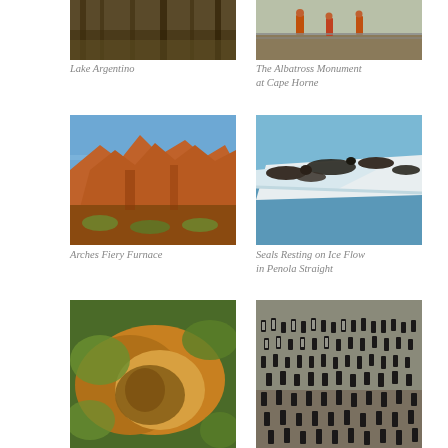[Figure (photo): Lake Argentino - partial view of grassland/reeds]
Lake Argentino
[Figure (photo): The Albatross Monument at Cape Horne - people on wooden walkway]
The Albatross Monument at Cape Horne
[Figure (photo): Arches Fiery Furnace - red rock formations with blue sky]
Arches Fiery Furnace
[Figure (photo): Seals Resting on Ice Flow in Penola Straight - seals on white ice in blue water]
Seals Resting on Ice Flow in Penola Straight
[Figure (photo): Underwater/lichen scene with green and orange colors]
[Figure (photo): Penguin colony on rocky shore]